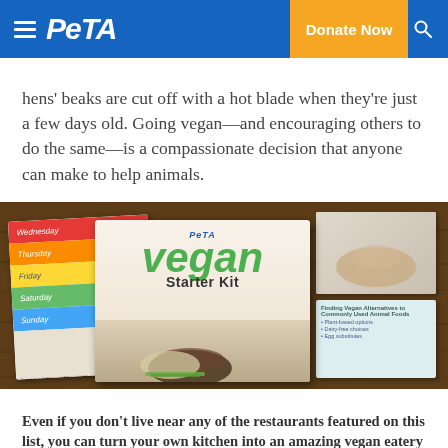PETA — Donate Now
hens' beaks are cut off with a hot blade when they're just a few days old. Going vegan—and encouraging others to do the same—is a compassionate decision that anyone can make to help animals.
[Figure (photo): PETA Vegan Starter Kit displayed on a wooden table, showing a colorful weekly meal planner on the left, main booklet in the center with 'PETA Vegan Starter Kit' branding and food photography, and additional booklets on the right.]
Even if you don't live near any of the restaurants featured on this list, you can turn your own kitchen into an amazing vegan eatery—and we can help you do it. You can browse free vegan Valentine's Day dessert recipes from PETA Living and check out a selection of sweet gifts from the